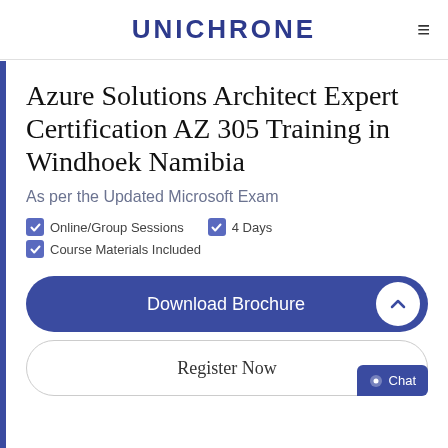UNICHRONE
Azure Solutions Architect Expert Certification AZ 305 Training in Windhoek Namibia
As per the Updated Microsoft Exam
Online/Group Sessions
4 Days
Course Materials Included
Download Brochure
Register Now